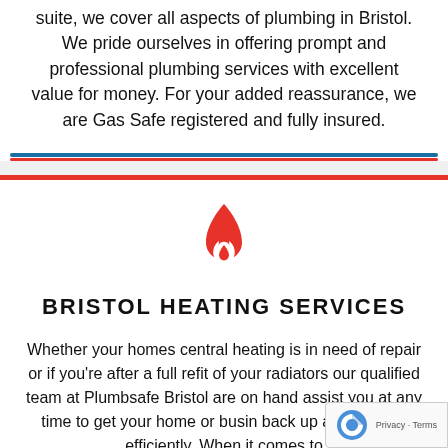suite, we cover all aspects of plumbing in Bristol. We pride ourselves in offering prompt and professional plumbing services with excellent value for money. For your added reassurance, we are Gas Safe registered and fully insured.
[Figure (illustration): Decorative horizontal divider with blue and red lines]
[Figure (logo): Red flame/fire icon logo for Bristol Heating Services]
BRISTOL HEATING SERVICES
Whether your homes central heating is in need of repair or if you're after a full refit of your radiators our qualified team at Plumbsafe Bristol are on hand assist you at any time to get your home or busin back up and running efficiently. When it comes to